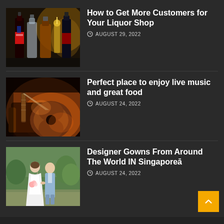[Figure (photo): Photo of liquor bottles on a shelf with warm lighting]
How to Get More Customers for Your Liquor Shop
AUGUST 29, 2022
[Figure (photo): Person playing an acoustic guitar with warm orange stage lighting]
Perfect place to enjoy live music and great food
AUGUST 24, 2022
[Figure (photo): Bride and groom walking outdoors in natural light]
Designer Gowns From Around The World IN Singaporeā
AUGUST 24, 2022